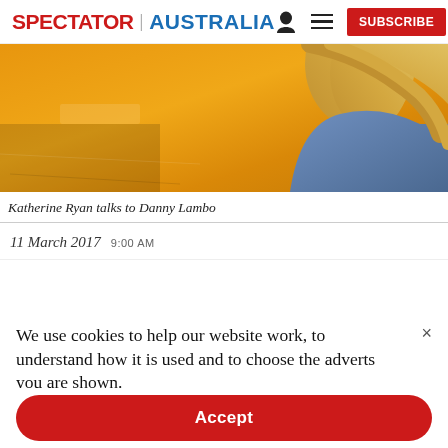SPECTATOR | AUSTRALIA  [person icon] [menu icon]  SUBSCRIBE
[Figure (photo): Partial photo showing a yellow/orange background with a person with blonde hair wearing a blue garment, top portion cut off — article image for 'Katherine Ryan talks to Danny Lambo']
Katherine Ryan talks to Danny Lambo
11 March 2017  9:00 AM
We use cookies to help our website work, to understand how it is used and to choose the adverts you are shown.

By clicking "Accept" you agree to us doing so. You can read more in our privacy policy.
Accept